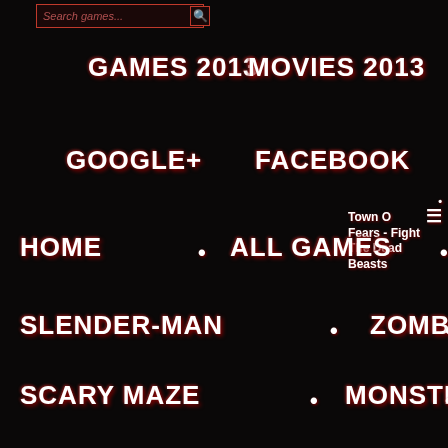Search games...
GAMES 2013
MOVIES 2013
GOOGLE+
FACEBOOK
HOME
ALL GAMES
SLENDER-MAN
ZOMBIE
SCARY MAZE
MONSTER
SCARY
HALLOWEEN
ESCAPE
ALL GAMES
SLENDER-MAN
ZOMBIE
SCARY MAZE
Town Of Fears - Fight The Dead Beasts